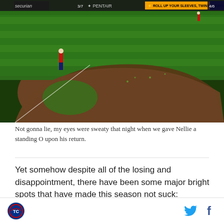[Figure (screenshot): Baseball field screenshot from a TV broadcast showing a player in red uniform standing in the infield. Advertisements visible: Securian, Pentair, 'Roll Up Your Sleeves, Twins Territory'. Green grass outfield visible.]
Not gonna lie, my eyes were sweaty that night when we gave Nellie a standing O upon his return.
Yet somehow despite all of the losing and disappointment, there have been some major bright spots that have made this season not suck:
Jorge Polanco's ridiculously good offense
Buxton's stellar MVP-worthy play when he is in the